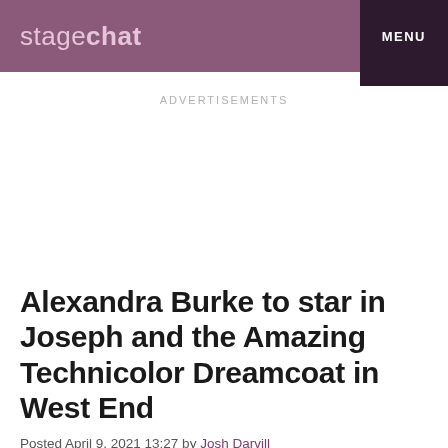stagechat | MENU
ADVERTISEMENTS
Alexandra Burke to star in Joseph and the Amazing Technicolor Dreamcoat in West End
Posted April 9, 2021 13:27 by Josh Darvill
[Figure (photo): Gray placeholder image block at bottom of page]